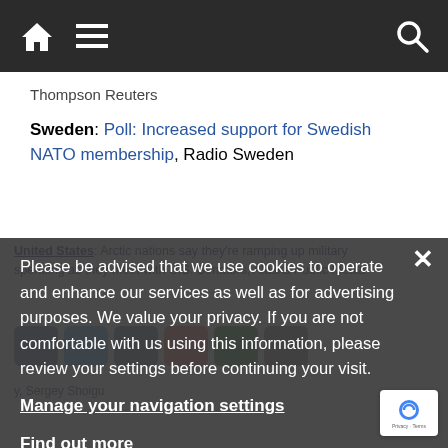Navigation bar with home icon, menu icon, and search icon
Thompson Reuters
Sweden: Poll: Increased support for Swedish NATO membership, Radio Sweden
United States: Arctic nations say they're ramping up military spending as they meet with U.S. Senators, Alaska Public Media
Please be advised that we use cookies to operate and enhance our services as well as for advertising purposes. We value your privacy. If you are not comfortable with us using this information, please review your settings before continuing your visit.
Manage your navigation settings
Find out more
← Poll: Increased support for Swedish NATO membership